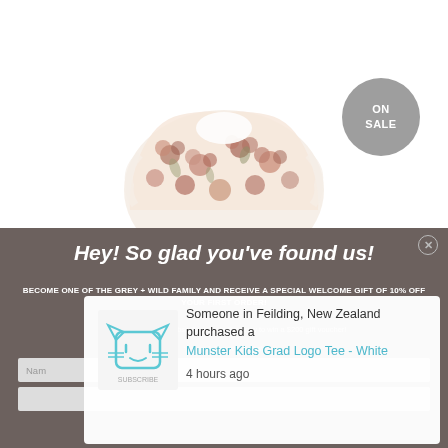[Figure (photo): Floral patterned children's top/shirt with white collar and ruffle details, displayed on white background]
ON SALE
Hey! So glad you've found us!
BECOME ONE OF THE GREY + WILD FAMILY AND RECEIVE A SPECIAL WELCOME GIFT OF 10% OFF YOUR FIRST ORDER!
Plus all Grey + Wild subscribers go in the draw to win a $200 gift voucher!
*Terms & Conditions apply
Someone in Feilding, New Zealand purchased a
Munster Kids Grad Logo Tee - White
4 hours ago